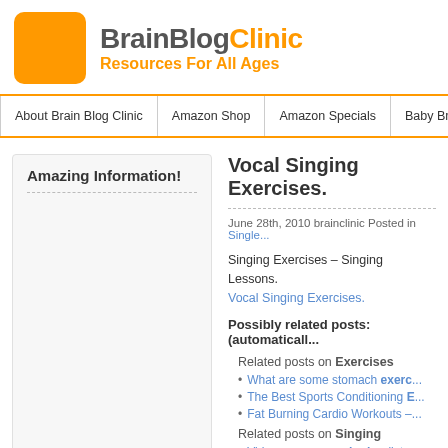[Figure (logo): BrainBlogClinic logo with orange square icon and text 'BrainBlogClinic Resources For All Ages']
About Brain Blog Clinic | Amazon Shop | Amazon Specials | Baby Brain Builder | Brain P...
Amazing Information!
Vocal Singing Exercises.
June 28th, 2010 brainclinic Posted in Single...
Singing Exercises – Singing Lessons. Vocal Singing Exercises.
Possibly related posts: (automaticall...
Related posts on Exercises
What are some stomach exerc...
The Best Sports Conditioning E...
Fat Burning Cardio Workouts –...
Related posts on Singing
Video news » me singing liste...
Sowetan – Entertainment | HO...
Can Chris Brown Redeem Him...